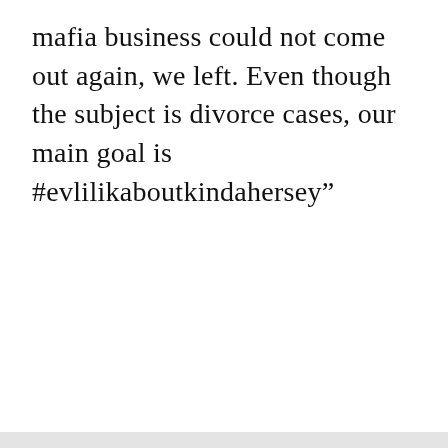mafia business could not come out again, we left. Even though the subject is divorce cases, our main goal is #evlilikaboutkindahersey”